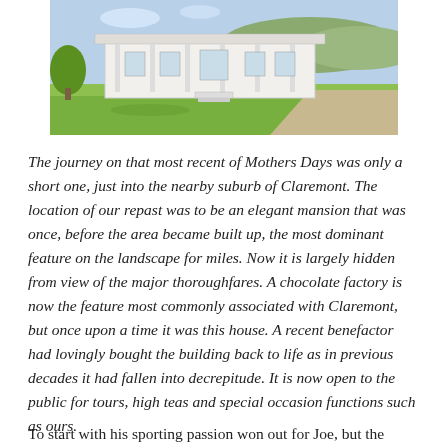[Figure (photo): Exterior photo of an elegant white colonial mansion with a wide veranda, set on green lawns with hills in the background and blue sky above. A gravel driveway is visible to the right.]
The journey on that most recent of Mothers Days was only a short one, just into the nearby suburb of Claremont. The location of our repast was to be an elegant mansion that was once, before the area became built up, the most dominant feature on the landscape for miles. Now it is largely hidden from view of the major thoroughfares. A chocolate factory is now the feature most commonly associated with Claremont, but once upon a time it was this house. A recent benefactor had lovingly bought the building back to life as in previous decades it had fallen into decrepitude. It is now open to the public for tours, high teas and special occasion functions such as ours.
To start with his sporting passion won out for Joe, but the